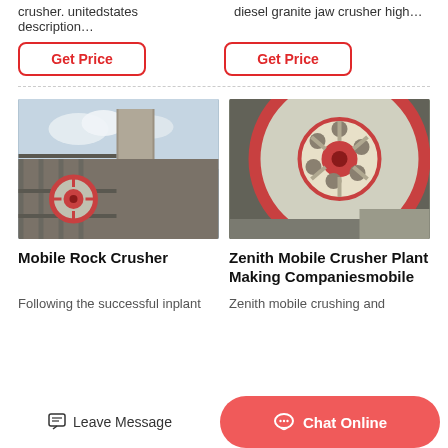crusher. unitedstates description…
diesel granite jaw crusher high…
Get Price
Get Price
[Figure (photo): Industrial mobile rock crusher machine on a construction/mining site with concrete pillars and steel scaffolding, cloudy sky visible.]
[Figure (photo): Close-up of a large red and white flywheel/pulley of a mobile crusher plant machine.]
Mobile Rock Crusher
Zenith Mobile Crusher Plant Making Companiesmobile
Following the successful inplant
Zenith mobile crushing and
Leave Message
Chat Online